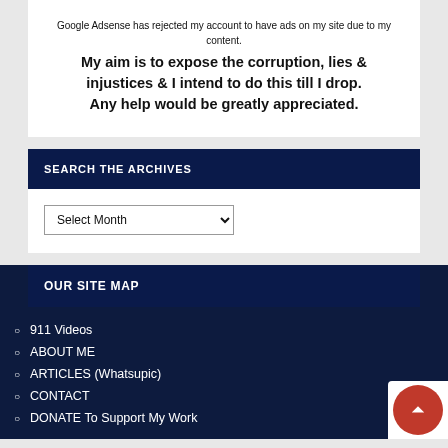Google Adsense has rejected my account to have ads on my site due to my content. My aim is to expose the corruption, lies & injustices & I intend to do this till I drop. Any help would be greatly appreciated.
SEARCH THE ARCHIVES
Select Month
OUR SITE MAP
911 Videos
ABOUT ME
ARTICLES (Whatsupic)
CONTACT
DONATE To Support My Work